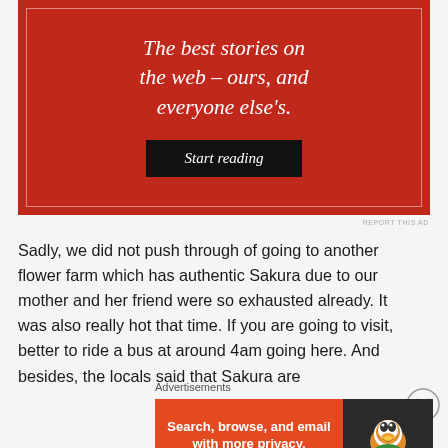[Figure (other): Red advertisement banner with white text: 'The best stories on the web – ours, and everyone else's.' with a 'Start reading' button]
REPORT THIS AD
Sadly, we did not push through of going to another flower farm which has authentic Sakura due to our mother and her friend were so exhausted already. It was also really hot that time. If you are going to visit, better to ride a bus at around 4am going here. And besides, the locals said that Sakura are
Advertisements
[Figure (other): DuckDuckGo advertisement: 'Search, browse, and email with more privacy. All in One Free App' with DuckDuckGo logo on dark background]
REPORT THIS AD